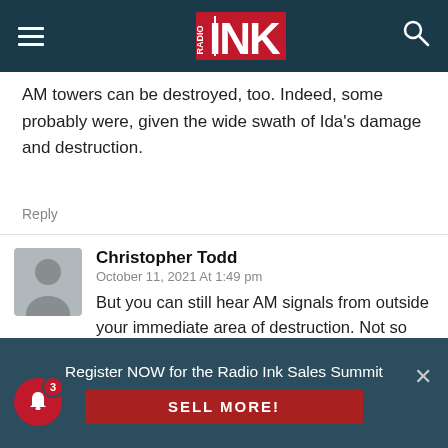Radio Ink — navigation bar with logo, hamburger menu, and search icon
AM towers can be destroyed, too. Indeed, some probably were, given the wide swath of Ida's damage and destruction.
Reply
Christopher Todd
October 11, 2021 At 1:49 pm
But you can still hear AM signals from outside your immediate area of destruction. Not so with FM. AM requires less infrastructure to reach more population. Saying only FM is needed is an overly optimistic and nominal-situation philosophy which
Register NOW for the Radio Ink Sales Summit
SELL MORE!